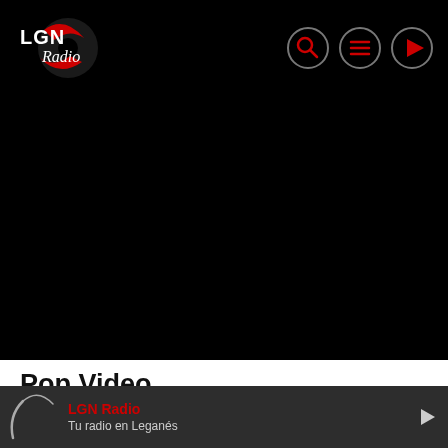[Figure (logo): LGN Radio logo — red and white text with vinyl record graphic on black background]
[Figure (screenshot): Navigation bar with search icon, hamburger menu icon, and play button icon (all outlined circles with red symbols) on black background]
[Figure (photo): Black video player area (blank/dark screen)]
Pop Video
Subdue Darkness So Unto All Moveth Stars Was So Open Behold
[Figure (other): Radio player bottom bar with LGN Radio logo spinner, red 'LGN Radio' label, 'Tu radio en Leganés' subtitle, and right arrow on dark grey background]